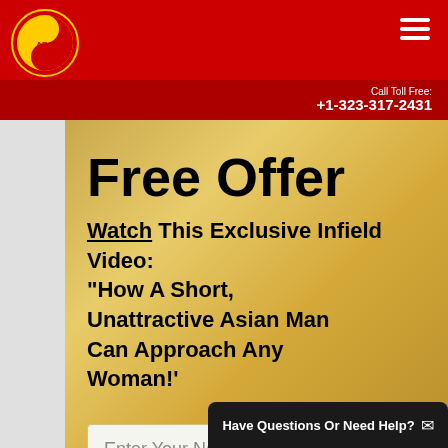[Figure (logo): ABC organization logo with yin-yang symbol in red and yellow, circular badge with text around it]
Call Toll Free:
+1-323-317-2431
Free Offer
Watch This Exclusive Infield Video: "How A Short, Unattractive Asian Man Can Approach Any Woman!'
Enter Your Name
Have Questions Or Need Help?